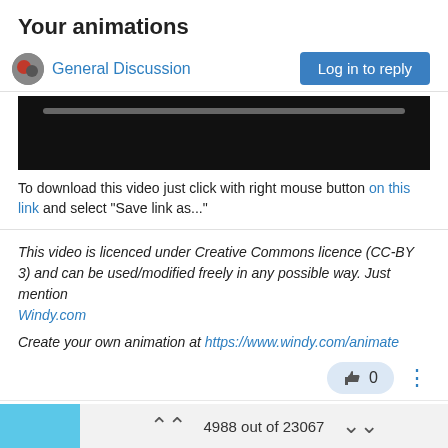Your animations
General Discussion
[Figure (screenshot): Video player thumbnail: black background with a gray progress bar near the top]
To download this video just click with right mouse button on this link and select "Save link as..."
This video is licenced under Creative Commons licence (CC-BY 3) and can be used/modified freely in any possible way. Just mention Windy.com

Create your own animation at https://www.windy.com/animate
👍 0
Lukionis  PHOTOGRAPHER | Premium   Feb 24, 2020, 7:28 AM
4988 out of 23067